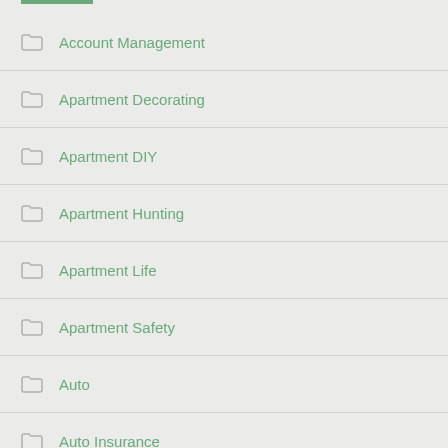Account Management
Apartment Decorating
Apartment DIY
Apartment Hunting
Apartment Life
Apartment Safety
Auto
Auto Insurance